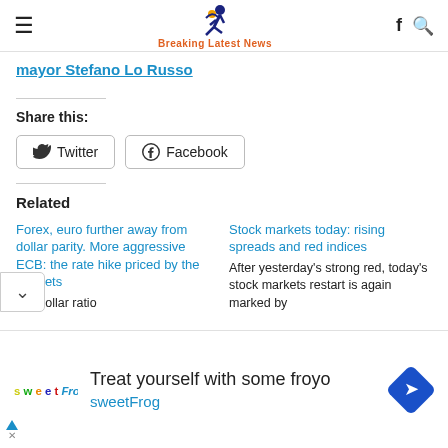Breaking Latest News
mayor Stefano Lo Russo
Share this:
Twitter  Facebook
Related
Forex, euro further away from dollar parity. More aggressive ECB: the rate hike priced by the markets
uro-dollar ratio
Stock markets today: rising spreads and red indices
After yesterday's strong red, today's stock markets restart is again marked by
Treat yourself with some froyo sweetFrog